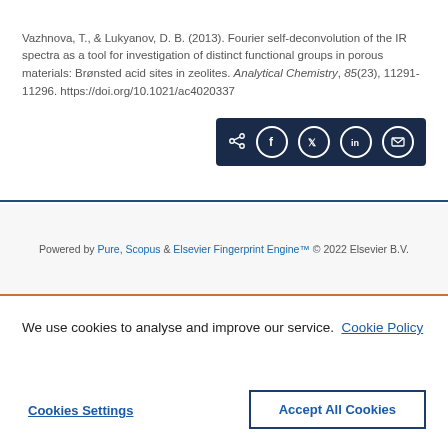Vazhnova, T., & Lukyanov, D. B. (2013). Fourier self-deconvolution of the IR spectra as a tool for investigation of distinct functional groups in porous materials: Brønsted acid sites in zeolites. Analytical Chemistry, 85(23), 11291-11296. https://doi.org/10.1021/ac4020337
[Figure (other): Share bar with icons for share, Facebook, Twitter, LinkedIn, and email on a dark navy background]
Powered by Pure, Scopus & Elsevier Fingerprint Engine™ © 2022 Elsevier B.V.
We use cookies to analyse and improve our service. Cookie Policy
Cookies Settings
Accept All Cookies